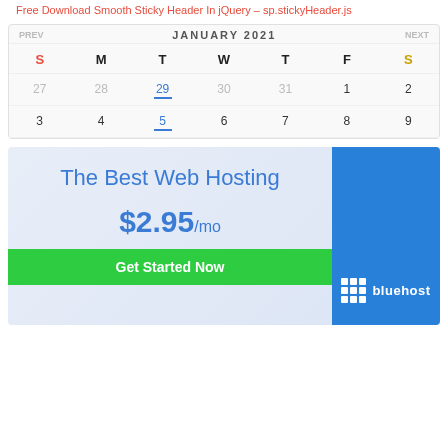Free Download Smooth Sticky Header In jQuery – sp.stickyHeader.js
[Figure (screenshot): Calendar widget showing January 2021, with days of week headers S M T W T F S. Week rows showing dates 27-2 (prev/next month dates greyed out) and 3-9. Date 29 and 5 shown in blue (today highlight style). Sunday dates in red, Saturday dates in gold/yellow.]
[Figure (infographic): Bluehost web hosting advertisement banner. Left panel has light blue gradient background with text 'The Best Web Hosting', price '$2.95/mo' in blue, and green 'Get Started Now' button. Right panel is solid blue with Bluehost logo (grid icon and 'bluehost' text in white).]